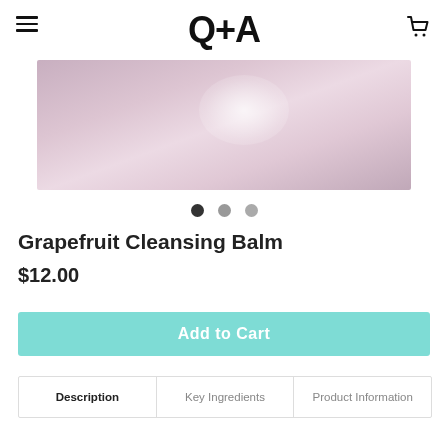Q+A
[Figure (photo): Product image showing a pink/mauve cleansing balm product on a pink background with light reflection]
[Figure (infographic): Three dot carousel indicators: first dot active (dark), second and third dots inactive (grey)]
Grapefruit Cleansing Balm
$12.00
Add to Cart
| Description | Key Ingredients | Product Information |
| --- | --- | --- |